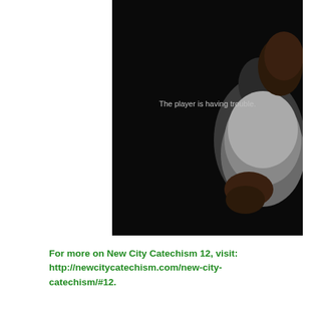[Figure (screenshot): A dark video player screenshot showing a person (appears to be a Black man in a white shirt) against a black background. Overlaid text reads 'The player is having trouble.' indicating a video playback error.]
For more on New City Catechism 12, visit: http://newcitycatechism.com/new-city-catechism/#12.